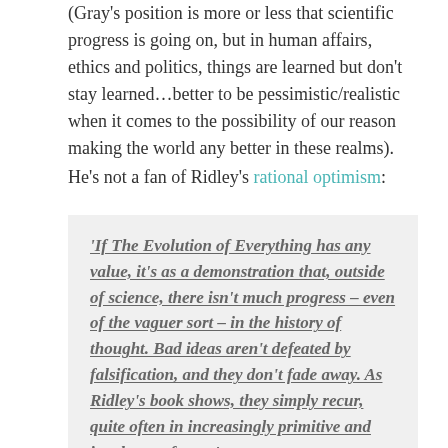(Gray's position is more or less that scientific progress is going on, but in human affairs, ethics and politics, things are learned but don't stay learned…better to be pessimistic/realistic when it comes to the possibility of our reason making the world any better in these realms).
He's not a fan of Ridley's rational optimism:
'If The Evolution of Everything has any value, it's as a demonstration that, outside of science, there isn't much progress – even of the vaguer sort – in the history of thought. Bad ideas aren't defeated by falsification, and they don't fade away. As Ridley's book shows, they simply recur, quite often in increasingly primitive and incoherent forms.'